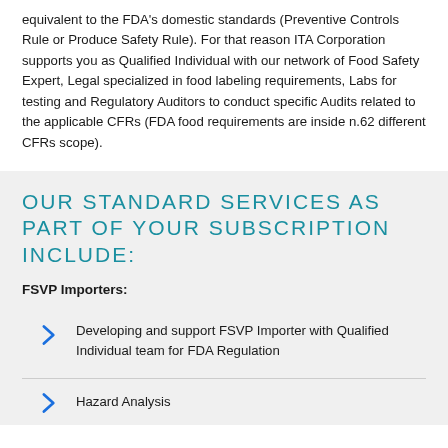equivalent to the FDA's domestic standards (Preventive Controls Rule or Produce Safety Rule). For that reason ITA Corporation supports you as Qualified Individual with our network of Food Safety Expert, Legal specialized in food labeling requirements, Labs for testing and Regulatory Auditors to conduct specific Audits related to the applicable CFRs (FDA food requirements are inside n.62 different CFRs scope).
OUR STANDARD SERVICES AS PART OF YOUR SUBSCRIPTION INCLUDE:
FSVP Importers:
Developing and support FSVP Importer with Qualified Individual team for FDA Regulation
Hazard Analysis